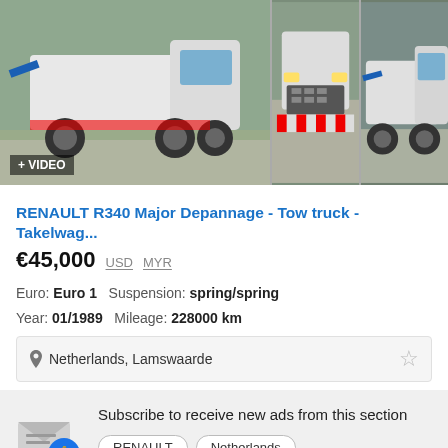[Figure (photo): Three photos of a white Renault R340 tow truck. The main large photo shows the truck from the side-rear angle in a yard. Two smaller thumbnail photos show the front and another side view. A '+ VIDEO' badge overlays the main photo.]
RENAULT R340 Major Depannage - Tow truck - Takelwag...
€45,000  USD  MYR
Euro: Euro 1   Suspension: spring/spring
Year: 01/1989   Mileage: 228000 km
Netherlands, Lamswaarde
Subscribe to receive new ads from this section
RENAULT   Netherlands